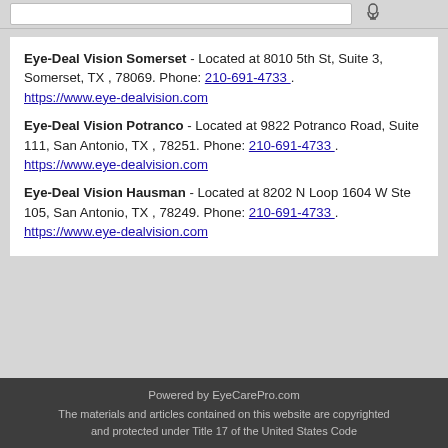Eye-Deal Vision Somerset - Located at 8010 5th St, Suite 3, Somerset, TX , 78069. Phone: 210-691-4733 . https://www.eye-dealvision.com
Eye-Deal Vision Potranco - Located at 9822 Potranco Road, Suite 111, San Antonio, TX , 78251. Phone: 210-691-4733 . https://www.eye-dealvision.com
Eye-Deal Vision Hausman - Located at 8202 N Loop 1604 W Ste 105, San Antonio, TX , 78249. Phone: 210-691-4733 . https://www.eye-dealvision.com
Powered by EyeCarePro.com
The materials and articles contained on this website are copyrighted and protected under Title 17 of the United States Code